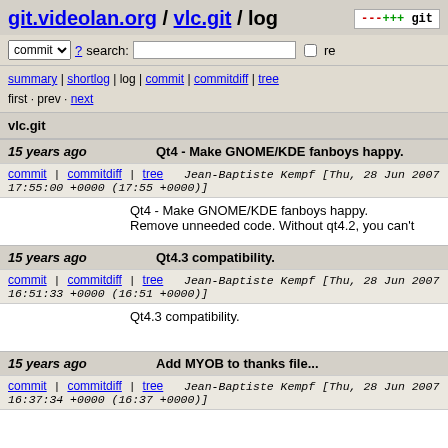git.videolan.org / vlc.git / log
commit ? search: re
summary | shortlog | log | commit | commitdiff | tree
first · prev · next
vlc.git
15 years ago    Qt4 - Make GNOME/KDE fanboys happy.
commit | commitdiff | tree    Jean-Baptiste Kempf [Thu, 28 Jun 2007 17:55:00 +0000 (17:55 +0000)]
Qt4 - Make GNOME/KDE fanboys happy.
Remove unneeded code. Without qt4.2, you can't
15 years ago    Qt4.3 compatibility.
commit | commitdiff | tree    Jean-Baptiste Kempf [Thu, 28 Jun 2007 16:51:33 +0000 (16:51 +0000)]
Qt4.3 compatibility.
15 years ago    Add MYOB to thanks file...
commit | commitdiff | tree    Jean-Baptiste Kempf [Thu, 28 Jun 2007 16:37:34 +0000 (16:37 +0000)]